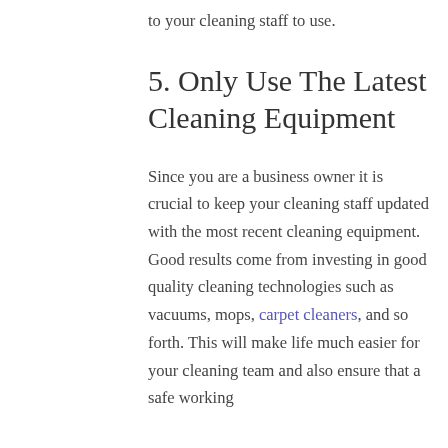to your cleaning staff to use.
5. Only Use The Latest Cleaning Equipment
Since you are a business owner it is crucial to keep your cleaning staff updated with the most recent cleaning equipment. Good results come from investing in good quality cleaning technologies such as vacuums, mops, carpet cleaners, and so forth. This will make life much easier for your cleaning team and also ensure that a safe working